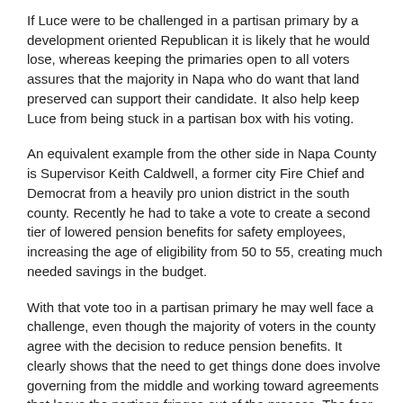but to downzone some of the land into agricultural use.
If Luce were to be challenged in a partisan primary by a development oriented Republican it is likely that he would lose, whereas keeping the primaries open to all voters assures that the majority in Napa who do want that land preserved can support their candidate. It also help keep Luce from being stuck in a partisan box with his voting.
An equivalent example from the other side in Napa County is Supervisor Keith Caldwell, a former city Fire Chief and Democrat from a heavily pro union district in the south county. Recently he had to take a vote to create a second tier of lowered pension benefits for safety employees, increasing the age of eligibility from 50 to 55, creating much needed savings in the budget.
With that vote too in a partisan primary he may well face a challenge, even though the majority of voters in the county agree with the decision to reduce pension benefits. It clearly shows that the need to get things done does involve governing from the middle and working toward agreements that leave the partisan fringes out of the process. The fear is that with increased partisanship comes increased disagreement and the loss of the ability to compromise. At that point, government breaks down and things don't get done. Potholes aren't Republican or Democrat, they just need to get filled.